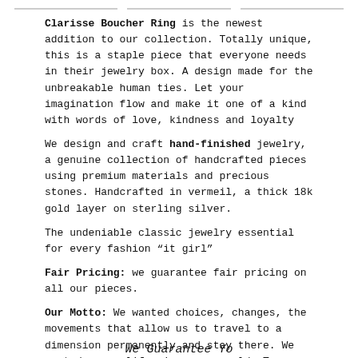Clarisse Boucher Ring is the newest addition to our collection. Totally unique, this is a staple piece that everyone needs in their jewelry box. A design made for the unbreakable human ties. Let your imagination flow and make it one of a kind with words of love, kindness and loyalty
We design and craft hand-finished jewelry, a genuine collection of handcrafted pieces using premium materials and precious stones. Handcrafted in vermeil, a thick 18k gold layer on sterling silver.
The undeniable classic jewelry essential for every fashion “it girl”
Fair Pricing: we guarantee fair pricing on all our pieces.
Our Motto: We wanted choices, changes, the movements that allow us to travel to a dimension permanently and stay there. We wanted a new life, in a new world. To us that was freedom.
[Figure (logo): Klarna logo (pink rounded rectangle) with text: 4 interest-free payments of $11.00. Learn More]
USD ⌄
We Guarantee Yo...